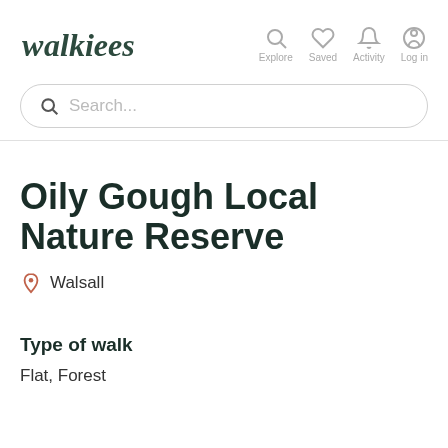[Figure (logo): Walkiees app logo with stylized text]
[Figure (infographic): Navigation icons: Explore (search), Saved (heart), Activity (bell), Log in (person)]
Search...
Oily Gough Local Nature Reserve
Walsall
Type of walk
Flat, Forest